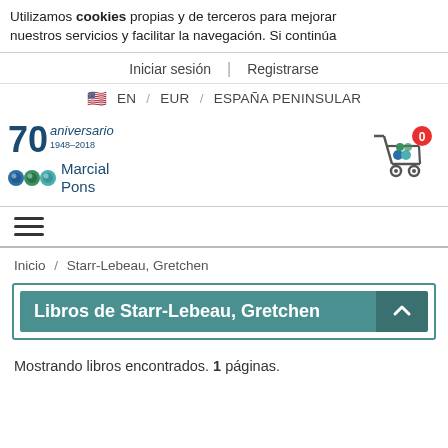Utilizamos cookies propias y de terceros para mejorar nuestros servicios y facilitar la navegación. Si continúa
Iniciar sesión | Registrarse
🇺🇸 EN / EUR / ESPAÑA PENINSULAR
[Figure (logo): Marcial Pons 70 aniversario 1948-2018 logo with colored circle icons]
[Figure (illustration): Shopping cart icon with red badge showing 0]
[Figure (illustration): Hamburger menu icon (three horizontal lines)]
Inicio / Starr-Lebeau, Gretchen
Libros de Starr-Lebeau, Gretchen
Mostrando libros encontrados. 1 páginas.